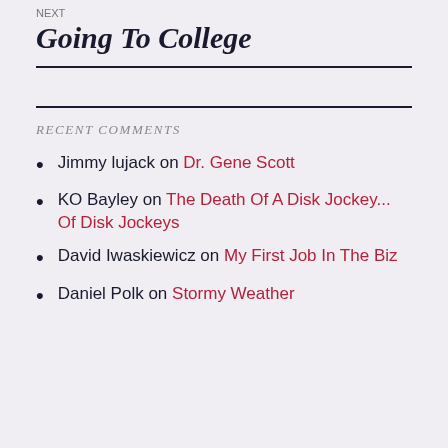NEXT
Going To College
RECENT COMMENTS
Jimmy lujack on Dr. Gene Scott
KO Bayley on The Death Of A Disk Jockey... Of Disk Jockeys
David Iwaskiewicz on My First Job In The Biz
Daniel Polk on Stormy Weather